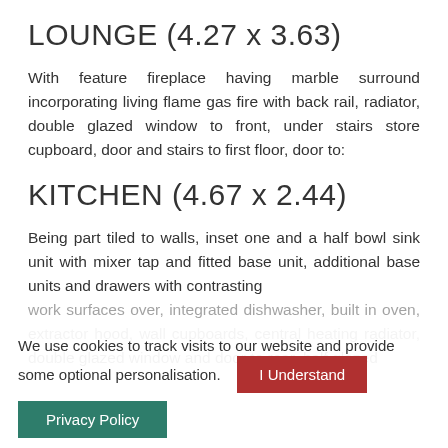LOUNGE (4.27 x 3.63)
With feature fireplace having marble surround incorporating living flame gas fire with back rail, radiator, double glazed window to front, under stairs store cupboard, door and stairs to first floor, door to:
KITCHEN (4.67 x 2.44)
Being part tiled to walls, inset one and a half bowl sink unit with mixer tap and fitted base unit, additional base units and drawers with contrasting work surfaces over, integrated dishwasher, built in oven, extractor hood, wall cupboards, central heating radiator, double glazed window and door to rear, half glazed...
We use cookies to track visits to our website and provide some optional personalisation.  I Understand  Privacy Policy